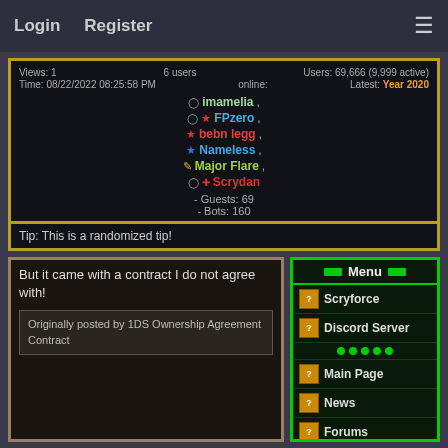Login   Register   ≡
Views: 1   6 users online:   Users: 69,666 (9,999 active)
Time: 08/22/2022 08:25:58 PM   Latest: Year 2020
imamelia, FPzero, bebn legg, Nameless, Major Flare, Scrydan
- Guests: 69
- Bots: 160
Tip: This is a randomized tip!
But it came with a contract I do not agree with!
Originally posted by 1DS Ownership Agreement Contract
Menu
Scryforce
Discord Server
Main Page
News
Forums
Rules